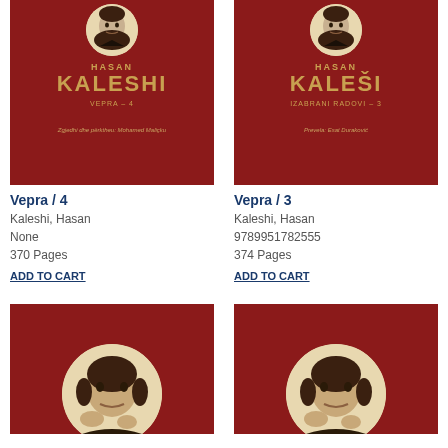[Figure (photo): Book cover of Hasan Kaleshi Vepra 4, dark red background with golden text and circular author portrait at top]
Vepra / 4
Kaleshi, Hasan
None
370 Pages
ADD TO CART
[Figure (photo): Book cover of Hasan Kaleši Izabrani Radovi 3, dark red background with golden text and circular author portrait at top]
Vepra / 3
Kaleshi, Hasan
9789951782555
374 Pages
ADD TO CART
[Figure (photo): Bottom portion of book cover, dark red background with large circular portrait of Hasan Kaleshi]
[Figure (photo): Bottom portion of book cover, dark red background with large circular portrait of Hasan Kaleshi]